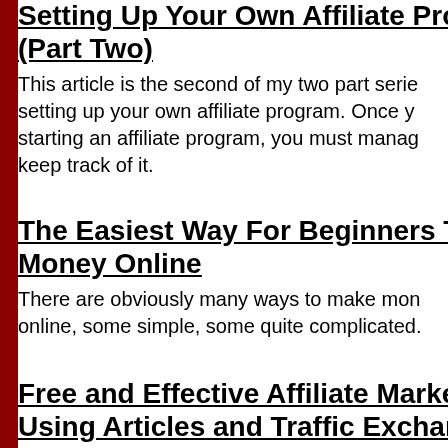Setting Up Your Own Affiliate Program (Part Two)
This article is the second of my two part series setting up your own affiliate program. Once you starting an affiliate program, you must manage keep track of it.
The Easiest Way For Beginners To Make Money Online
There are obviously many ways to make money online, some simple, some quite complicated.
Free and Effective Affiliate Marketing Using Articles and Traffic Exchange S
Affiliate marketing is an extremely tricky subj